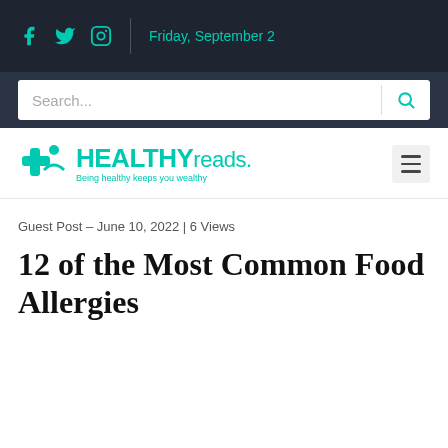Friday, September 2
[Figure (logo): HEALTHYreads. logo with teal cross/person icon and tagline 'Being healthy keeps you wealthy']
Guest Post - June 10, 2022 | 6 Views
12 of the Most Common Food Allergies